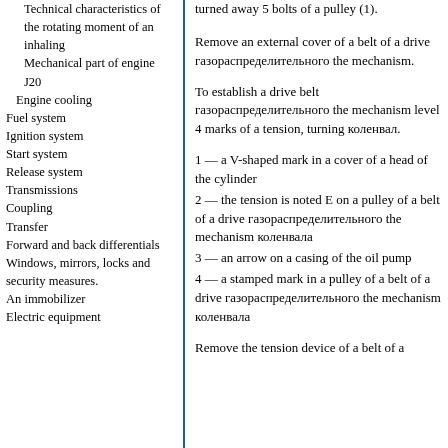Technical characteristics of the rotating moment of an inhaling
Mechanical part of engine J20
Engine cooling
Fuel system
Ignition system
Start system
Release system
Transmissions
Coupling
Transfer
Forward and back differentials
Windows, mirrors, locks and security measures.
An immobilizer
Electric equipment
turned away 5 bolts of a pulley (1).
Remove an external cover of a belt of a drive газораспределительного the mechanism.
To establish a drive belt газораспределительного the mechanism level 4 marks of a tension, turning коленвал.
1 — a V-shaped mark in a cover of a head of the cylinder
2 — the tension is noted E on a pulley of a belt of a drive газораспределительного the mechanism коленвала
3 — an arrow on a casing of the oil pump
4 — a stamped mark in a pulley of a belt of a drive газораспределительного the mechanism коленвала
Remove the tension device of a belt of a